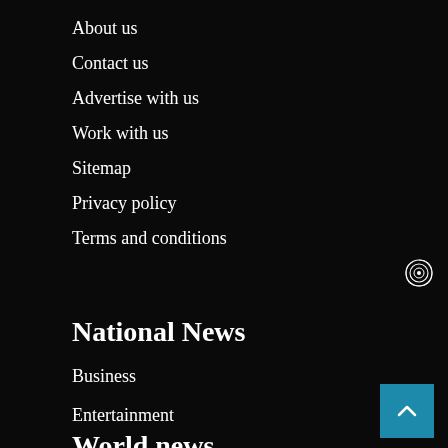About us
Contact us
Advertise with us
Work with us
Sitemap
Privacy policy
Terms and conditions
[Figure (logo): Spiral/swirl decorative icon on dark background, right side]
National News
Business
Entertainment
World news
Entertainment